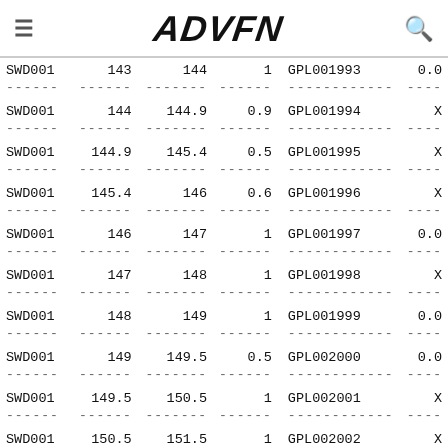ADVFN
| Code | From | To | Size | GPL Code | Val |
| --- | --- | --- | --- | --- | --- |
| SWD001 | 143 | 144 | 1 | GPL001993 | 0.0 |
| SWD001 | 144 | 144.9 | 0.9 | GPL001994 | X |
| SWD001 | 144.9 | 145.4 | 0.5 | GPL001995 | X |
| SWD001 | 145.4 | 146 | 0.6 | GPL001996 | X |
| SWD001 | 146 | 147 | 1 | GPL001997 | 0.0 |
| SWD001 | 147 | 148 | 1 | GPL001998 | X |
| SWD001 | 148 | 149 | 1 | GPL001999 | 0.0 |
| SWD001 | 149 | 149.5 | 0.5 | GPL002000 | 0.0 |
| SWD001 | 149.5 | 150.5 | 1 | GPL002001 | X |
| SWD001 | 150.5 | 151.5 | 1 | GPL002002 | X |